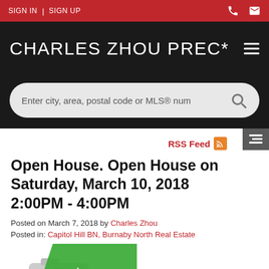SIGN IN | SIGN UP
CHARLES ZHOU PREC*
Enter city, area, postal code or MLS® num
RSS Feed
Open House. Open House on Saturday, March 10, 2018 2:00PM - 4:00PM
Posted on March 7, 2018 by Charles Zhou
Posted in: Capitol Hill BN, Burnaby North Real Estate
[Figure (photo): Open House badge/label overlaid on a camera icon, green diagonal ribbon with 'OPEN HOUSE' text]